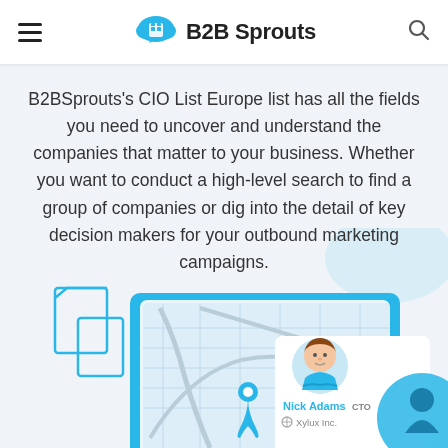B2B Sprouts
B2BSprouts's CIO List Europe list has all the fields you need to uncover and understand the companies that matter to your business. Whether you want to conduct a high-level search to find a group of companies or dig into the detail of key decision makers for your outbound marketing campaigns.
[Figure (illustration): Illustration of a laptop showing a map interface with a business contact card for Nick Adams (CTO) at Xylux Inc., alongside building icons and a circular avatar.]